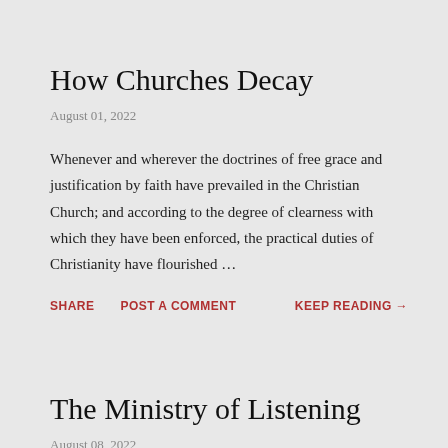How Churches Decay
August 01, 2022
Whenever and wherever the doctrines of free grace and justification by faith have prevailed in the Christian Church; and according to the degree of clearness with which they have been enforced, the practical duties of Christianity have flourished …
SHARE   POST A COMMENT   KEEP READING →
The Ministry of Listening
August 08, 2022
The first service that one owes to others in the fellowship